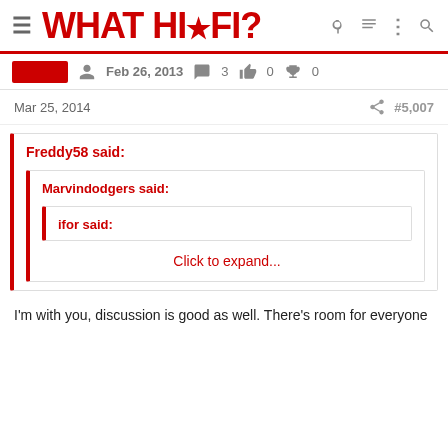WHAT HI·FI?
Feb 26, 2013  3  0  0
Mar 25, 2014  #5,007
Freddy58 said:
Marvindodgers said:
ifor said:
Click to expand...
I'm with you, discussion is good as well. There's room for everyone